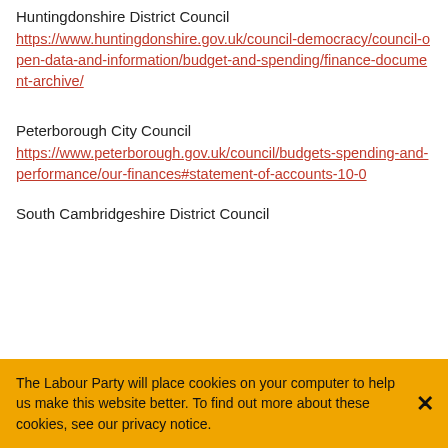Huntingdonshire District Council
https://www.huntingdonshire.gov.uk/council-democracy/council-open-data-and-information/budget-and-spending/finance-document-archive/
Peterborough City Council
https://www.peterborough.gov.uk/council/budgets-spending-and-performance/our-finances#statement-of-accounts-10-0
South Cambridgeshire District Council
The Labour Party will place cookies on your computer to help us make this website better. To find out more about these cookies, see our privacy notice.